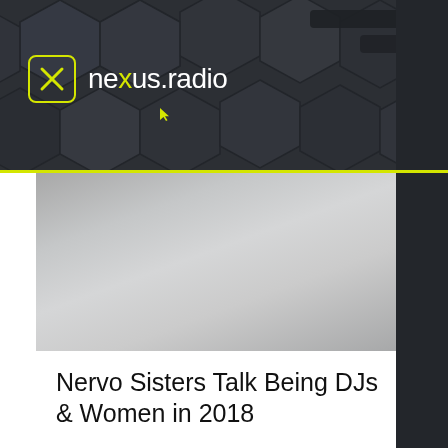[Figure (screenshot): nexus.radio website header with hexagonal dark background pattern and yellow-accented logo]
[Figure (photo): Gray gradient image placeholder for article about Nervo Sisters]
Nervo Sisters Talk Being DJs & Women in 2018